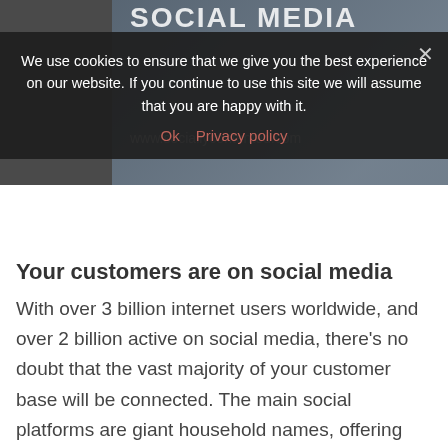[Figure (screenshot): Social media website banner/header image with dark overlay showing 'SOCIAL MEDIA' text and website URL www.sociallycontented.com]
We use cookies to ensure that we give you the best experience on our website. If you continue to use this site we will assume that you are happy with it.
Ok   Privacy policy
Your customers are on social media
With over 3 billion internet users worldwide, and over 2 billion active on social media, there's no doubt that the vast majority of your customer base will be connected. The main social platforms are giant household names, offering businesses a unique way to be in touch with their customers. A social media presence for businesses is now a necessity.

For estate agents, who now undertake a large part of their business online, social media...